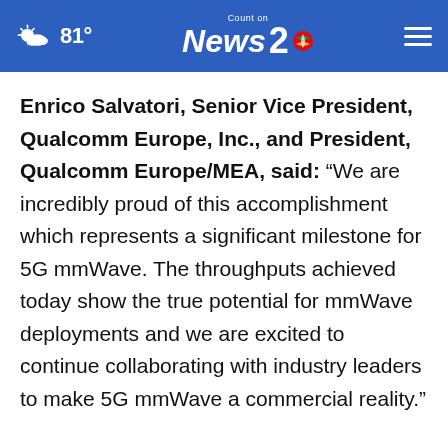81° Count on News 2 NBC
Enrico Salvatori, Senior Vice President, Qualcomm Europe, Inc., and President, Qualcomm Europe/MEA, said: “We are incredibly proud of this accomplishment which represents a significant milestone for 5G mmWave. The throughputs achieved today show the true potential for mmWave deployments and we are excited to continue collaborating with industry leaders to make 5G mmWave a commercial reality.”